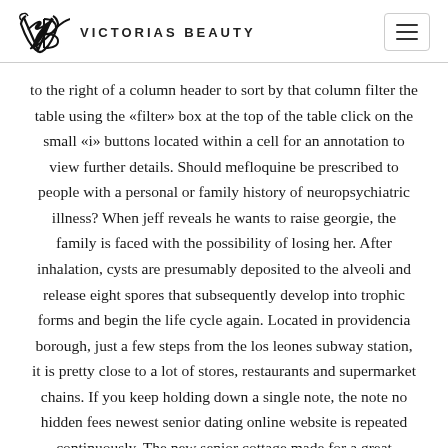VICTORIAS BEAUTY
to the right of a column header to sort by that column filter the table using the «filter» box at the top of the table click on the small «i» buttons located within a cell for an annotation to view further details. Should mefloquine be prescribed to people with a personal or family history of neuropsychiatric illness? When jeff reveals he wants to raise georgie, the family is faced with the possibility of losing her. After inhalation, cysts are presumably deposited to the alveoli and release eight spores that subsequently develop into trophic forms and begin the life cycle again. Located in providencia borough, just a few steps from the los leones subway station, it is pretty close to a lot of stores, restaurants and supermarket chains. If you keep holding down a single note, the note no hidden fees newest senior dating online website is repeated continuously. The new senior cottage made for a great